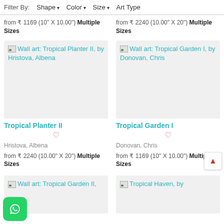Filter By:  Shape ▾  Color ▾  Size ▾  Art Type
from ₹ 1169 (10" X 10.00") Multiple Sizes
from ₹ 2240 (10.00" X 20") Multiple Sizes
[Figure (screenshot): Product image placeholder for Wall art: Tropical Planter II, by Hristova, Albena]
[Figure (screenshot): Product image placeholder for Wall art: Tropical Garden I, by Donovan, Chris]
Tropical Planter II
Tropical Garden I
Hristova, Albena
Donovan, Chris
from ₹ 2240 (10.00" X 20") Multiple Sizes
from ₹ 1169 (10" X 10.00") Multiple Sizes
[Figure (screenshot): Product image placeholder for Wall art: Tropical Garden II]
[Figure (screenshot): Product image placeholder for Wall art: Tropical Haven]